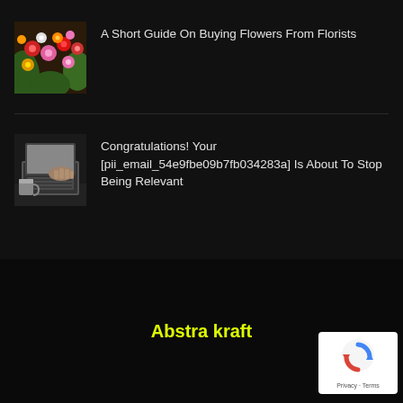[Figure (photo): Colorful assorted flowers at a florist shop]
A Short Guide On Buying Flowers From Florists
[Figure (photo): Person using a laptop, black and white, with a coffee cup nearby]
Congratulations! Your [pii_email_54e9fbe09b7fb034283a] Is About To Stop Being Relevant
Abstra kraft
[Figure (logo): Google reCAPTCHA badge with Privacy and Terms text]